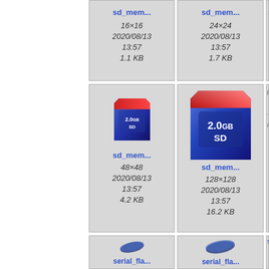[Figure (screenshot): File browser grid showing sd_memory and serial_flash icon files at various resolutions. Row 1: sd_mem... 16x16 2020/08/13 13:57 1.1 KB; sd_mem... 24x24 2020/08/13 13:57 1.7 KB; partial third cell. Row 2: sd_mem... 48x48 icon, sd_mem... 128x128 icon, partial third cell. Row 3: serial_fla... icon, serial_fla... icon, partial third cell.]